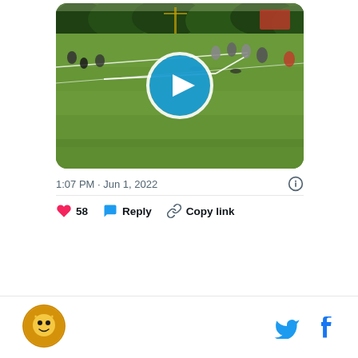[Figure (screenshot): Embedded tweet showing a football practice field video thumbnail with a blue play button circle in the center. Players are visible on a green grass field with trees in the background.]
1:07 PM · Jun 1, 2022
58 Reply Copy link
[Figure (logo): Round site logo with a cartoon character on orange/gold background, with Twitter and Facebook share icons on the right]